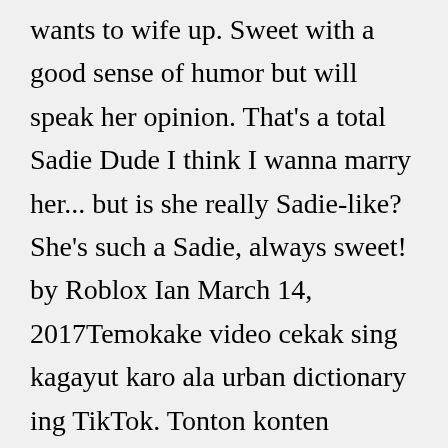wants to wife up. Sweet with a good sense of humor but will speak her opinion. That's a total Sadie Dude I think I wanna marry her... but is she really Sadie-like? She's such a Sadie, always sweet! by Roblox Ian March 14, 2017Temokake video cekak sing kagayut karo ala urban dictionary ing TikTok. Tonton konten populer saka kreator ing ngisor iki: The Showlorios(@theshowlorios), JR Fields(@504stankonya),